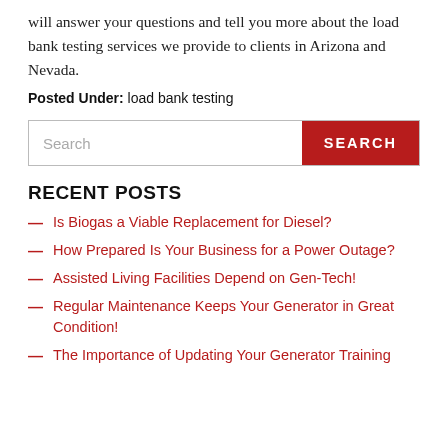will answer your questions and tell you more about the load bank testing services we provide to clients in Arizona and Nevada.
Posted Under: load bank testing
[Figure (other): Search input field with a red SEARCH button]
RECENT POSTS
Is Biogas a Viable Replacement for Diesel?
How Prepared Is Your Business for a Power Outage?
Assisted Living Facilities Depend on Gen-Tech!
Regular Maintenance Keeps Your Generator in Great Condition!
The Importance of Updating Your Generator Training